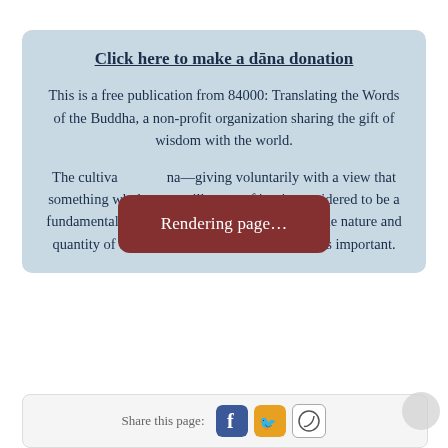Click here to make a dāna donation
This is a free publication from 84000: Translating the Words of the Buddha, a non-profit organization sharing the gift of wisdom with the world.
The cultivation of dāna—giving voluntarily with a view that something wholesome will come of it—is considered to be a fundamental Buddhist practice by all schools. The nature and quantity of the gift itself is often considered less important.
Share this page: